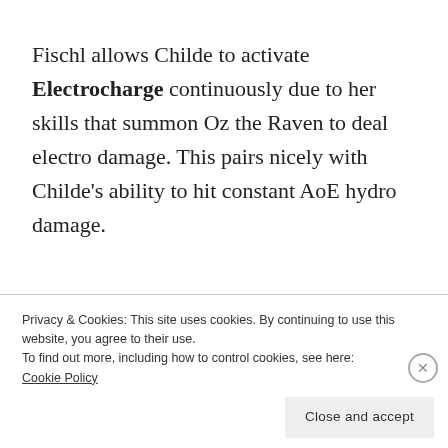Fischl allows Childe to activate Electrocharge continuously due to her skills that summon Oz the Raven to deal electro damage. This pairs nicely with Childe's ability to hit constant AoE hydro damage.
[Figure (illustration): Partial decorative emblem/logo image, partially obscured by cookie banner overlay]
Privacy & Cookies: This site uses cookies. By continuing to use this website, you agree to their use.
To find out more, including how to control cookies, see here:
Cookie Policy
Close and accept